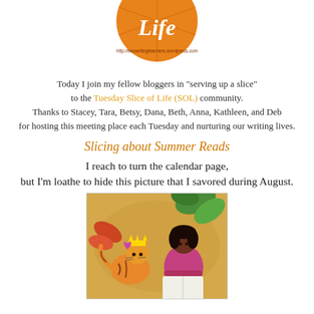[Figure (logo): Orange circular Slice of Life logo with the text 'Life' and URL http://twowritingteachers.wordpress.com]
Today I join my fellow bloggers in "serving up a slice" to the Tuesday Slice of Life (SOL) community. Thanks to Stacey, Tara, Betsy, Dana, Beth, Anna, Kathleen, and Deb for hosting this meeting place each Tuesday and nurturing our writing lives.
Slicing about Summer Reads
I reach to turn the calendar page, but I'm loathe to hide this picture that I savored during August.
[Figure (illustration): Illustrated book cover showing a girl reading with a tiger wearing a crown, colorful tropical foliage in background, warm golden tones]